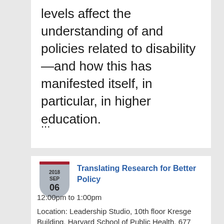levels affect the understanding of and policies related to disability—and how this has manifested itself, in particular, in higher education.
...
[Figure (other): Shield-shaped calendar badge showing 2018 SEP 06]
Translating Research for Better Policy
12:00pm to 1:00pm
Location: Leadership Studio, 10th floor Kresge Building, Harvard School of Public Health, 677